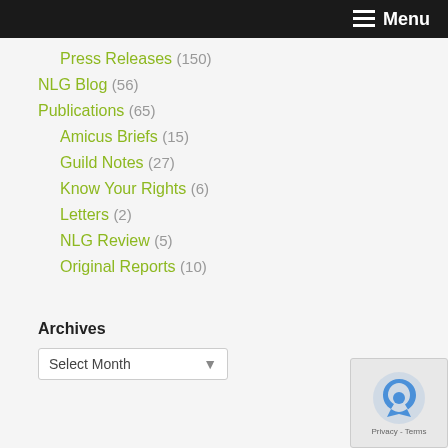Menu
Press Releases (150)
NLG Blog (56)
Publications (65)
Amicus Briefs (15)
Guild Notes (27)
Know Your Rights (6)
Letters (2)
NLG Review (5)
Original Reports (10)
Archives
Select Month